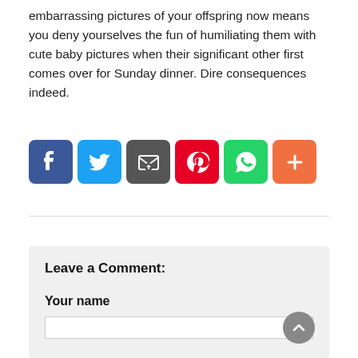embarrassing pictures of your offspring now means you deny yourselves the fun of humiliating them with cute baby pictures when their significant other first comes over for Sunday dinner. Dire consequences indeed.
[Figure (infographic): Row of social media share buttons: Facebook (blue), Twitter (light blue), Email (dark gray), Pinterest (red), WhatsApp (green), More/Plus (orange)]
Leave a Comment:
Your name